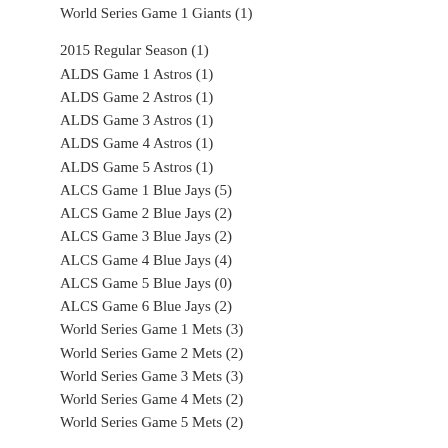World Series Game 1 Giants (1)
2015 Regular Season (1)
ALDS Game 1 Astros (1)
ALDS Game 2 Astros (1)
ALDS Game 3 Astros (1)
ALDS Game 4 Astros (1)
ALDS Game 5 Astros (1)
ALCS Game 1 Blue Jays (5)
ALCS Game 2 Blue Jays (2)
ALCS Game 3 Blue Jays (2)
ALCS Game 4 Blue Jays (4)
ALCS Game 5 Blue Jays (0)
ALCS Game 6 Blue Jays (2)
World Series Game 1 Mets (3)
World Series Game 2 Mets (2)
World Series Game 3 Mets (3)
World Series Game 4 Mets (2)
World Series Game 5 Mets (2)
By Player
Hosmer (3)